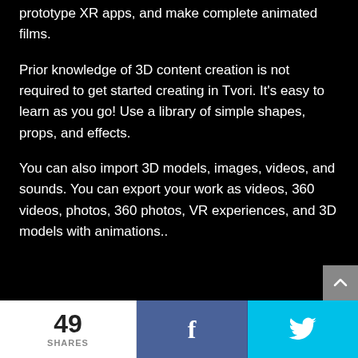prototype XR apps, and make complete animated films.
Prior knowledge of 3D content creation is not required to get started creating in Tvori. It's easy to learn as you go! Use a library of simple shapes, props, and effects.
You can also import 3D models, images, videos, and sounds. You can export your work as videos, 360 videos, photos, 360 photos, VR experiences, and 3D models with animations..
49 SHARES